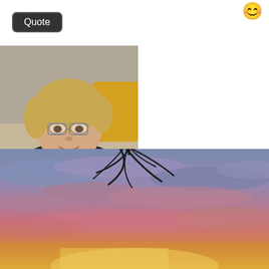[Figure (screenshot): Dark rounded 'Quote' button at top left]
[Figure (photo): Profile photo of an older woman with short blonde hair and glasses, smiling]
Harborwitch
Whoa!
[Figure (screenshot): Dark rounded 'Quote' button below post text]
[Figure (photo): Sunset photo showing a colorful sky with pink, purple, and golden clouds, with a silhouette of palm tree fronds at top]